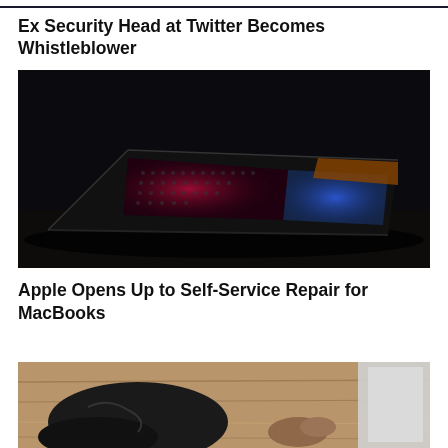[Figure (photo): Dark narrow image bar at the very top of the page, appears to be the bottom sliver of a previous article image]
Ex Security Head at Twitter Becomes Whistleblower
[Figure (photo): A dark laptop/MacBook seen from the side at an angle on a dark surface, with colorful RGB backlighting illuminating the keyboard and trackpad area in red, blue, and orange hues]
Apple Opens Up to Self-Service Repair for MacBooks
[Figure (photo): A person's hands working on a laptop computer placed on a wooden table, partially cropped at bottom of page]